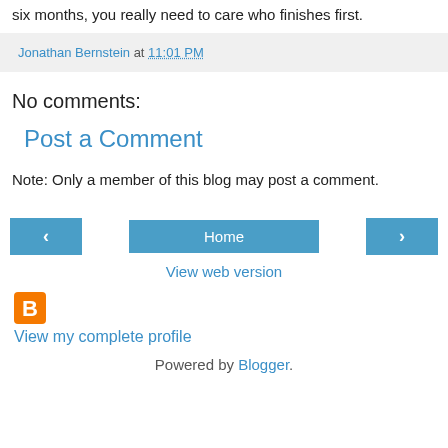six months, you really need to care who finishes first.
Jonathan Bernstein at 11:01 PM
No comments:
Post a Comment
Note: Only a member of this blog may post a comment.
[Figure (other): Navigation bar with left arrow button, Home button, and right arrow button]
View web version
[Figure (logo): Blogger orange B logo icon]
View my complete profile
Powered by Blogger.